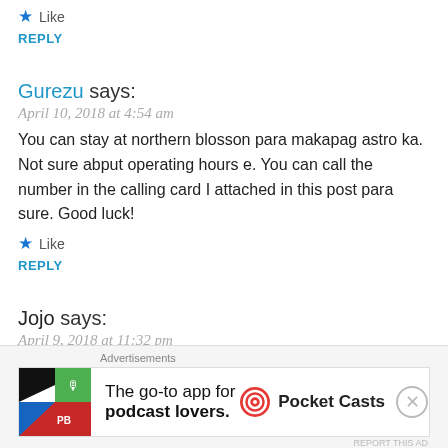Like
REPLY
Gurezu says:
April 10, 2018 at 4:54 am
You can stay at northern blosson para makapag astro ka. Not sure abput operating hours e. You can call the number in the calling card I attached in this post para sure. Good luck!
Like
REPLY
Jojo says:
April 9, 2018 at 11:32 pm
Hi again! Hehee do you know what time their hours of operation?
[Figure (screenshot): Advertisement banner for Pocket Casts app: 'The go-to app for podcast lovers.' with Pocket Casts logo]